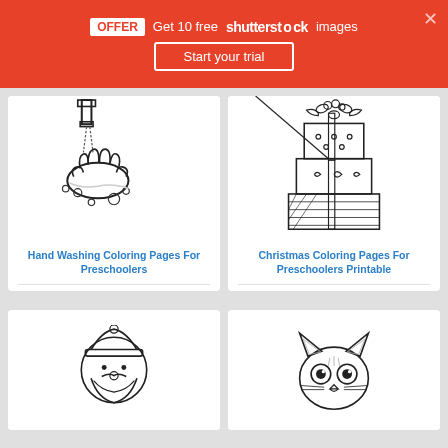OFFER  Get 10 free shutterstock images  Start your trial
[Figure (illustration): Hand washing coloring page showing hands under a faucet with soap bubbles, black and white line art]
Hand Washing Coloring Pages For Preschoolers
[Figure (illustration): Christmas coloring page showing stacked wrapped gift boxes with bow and holly decoration, black and white line art]
Christmas Coloring Pages For Preschoolers Printable
[Figure (illustration): Coloring page showing Santa Claus face, black and white line art]
[Figure (illustration): Coloring page showing a cat or fox face with big eyes, black and white line art]